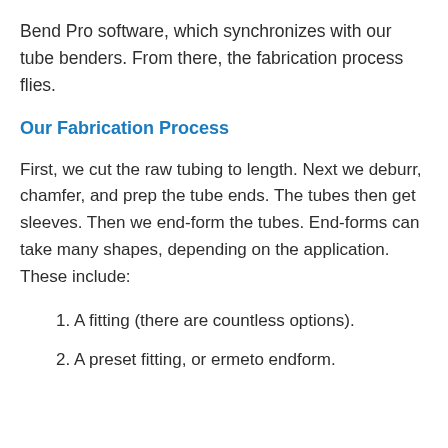Bend Pro software, which synchronizes with our tube benders. From there, the fabrication process flies.
Our Fabrication Process
First, we cut the raw tubing to length. Next we deburr, chamfer, and prep the tube ends. The tubes then get sleeves. Then we end-form the tubes. End-forms can take many shapes, depending on the application. These include:
1. A fitting (there are countless options).
2. A preset fitting, or ermeto endform.